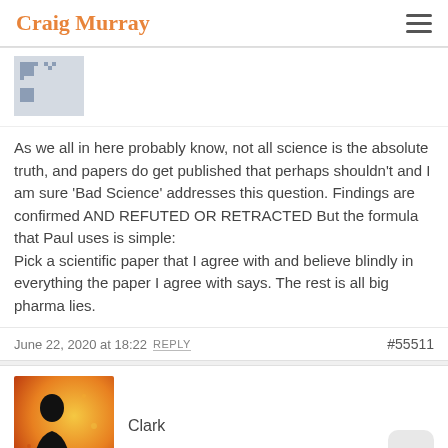Craig Murray
[Figure (photo): Partial avatar image showing a QR-code-like placeholder graphic in blue/grey]
As we all in here probably know, not all science is the absolute truth, and papers do get published that perhaps shouldn't and I am sure 'Bad Science' addresses this question. Findings are confirmed AND REFUTED OR RETRACTED But the formula that Paul uses is simple:
Pick a scientific paper that I agree with and believe blindly in everything the paper I agree with says. The rest is all big pharma lies.
June 22, 2020 at 18:22 REPLY  #55511
[Figure (photo): Avatar image for user Clark showing a silhouette figure against an orange/yellow background]
Clark